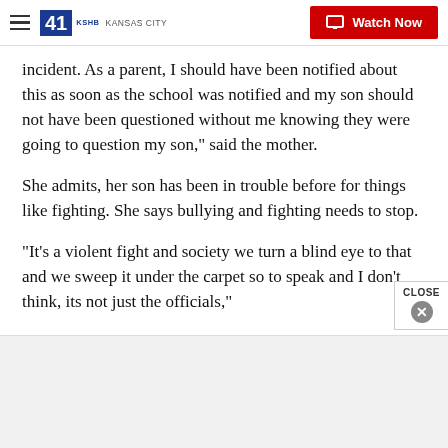KSHB 41 Kansas City | Watch Now
incident. As a parent, I should have been notified about this as soon as the school was notified and my son should not have been questioned without me knowing they were going to question my son," said the mother.
She admits, her son has been in trouble before for things like fighting. She says bullying and fighting needs to stop.
"It's a violent fight and society we turn a blind eye to that and we sweep it under the carpet so to speak and I don't think, its not just the officials,"